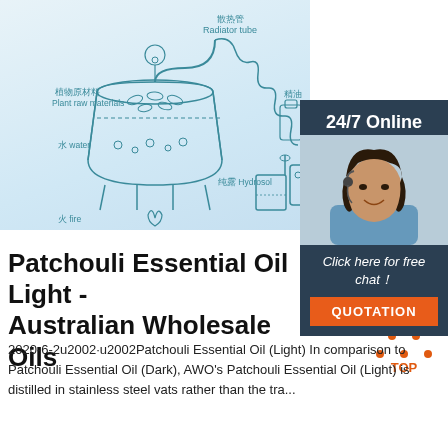[Figure (schematic): Technical diagram of essential oil distillation apparatus with labeled parts in Chinese and English: 植物原材料/Plant raw materials, 水 water, 火 fire, 散热管/Radiator tube, 精油 (essential oil), 纯露 Hydrosol]
[Figure (infographic): 24/7 Online chat widget with photo of a smiling woman with headset, 'Click here for free chat!' text, and orange QUOTATION button]
Patchouli Essential Oil Light - Australian Wholesale Oils
[Figure (logo): TOP logo - orange triangle shape with 'TOP' text]
2020-6-2u2002·u2002Patchouli Essential Oil (Light) In comparison to Patchouli Essential Oil (Dark), AWO's Patchouli Essential Oil (Light) is distilled in stainless steel vats rather than the tra...